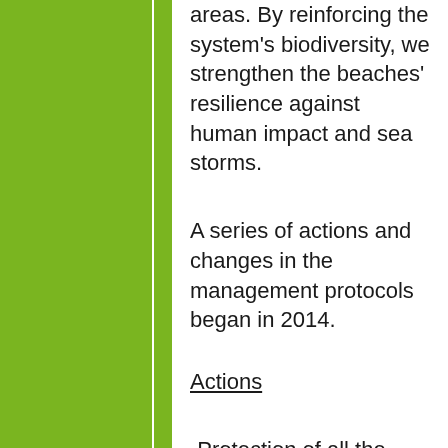areas. By reinforcing the system's biodiversity, we strengthen the beaches' resilience against human impact and sea storms.
A series of actions and changes in the management protocols began in 2014.
Actions
-Protection of all the dune areas with stick and rope enclosures